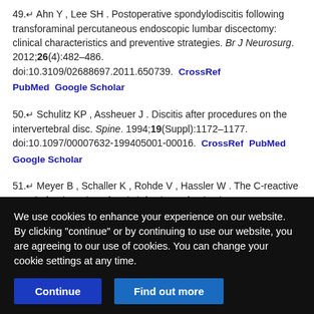49.↵ Ahn Y , Lee SH . Postoperative spondylodiscitis following transforaminal percutaneous endoscopic lumbar discectomy: clinical characteristics and preventive strategies. Br J Neurosurg. 2012;26(4):482–486. doi:10.3109/02688697.2011.650739. CrossRef PubMed Google Scholar
50.↵ Schulitz KP , Assheuer J . Discitis after procedures on the intervertebral disc. Spine. 1994;19(Suppl):1172–1177. doi:10.1097/00007632-199405001-00016. CrossRef PubMed Google Scholar
51.↵ Meyer B , Schaller K , Rohde V , Hassler W . The C-reactive protein for detection of early infections after lumbar microdiscectomy. Acta neurochir. 1995;136(3-4):145–150. doi:10.1007/BF01410617. CrossRef PubMed Google Scholar
We use cookies to enhance your experience on our website. By clicking "continue" or by continuing to use our website, you are agreeing to our use of cookies. You can change your cookie settings at any time.